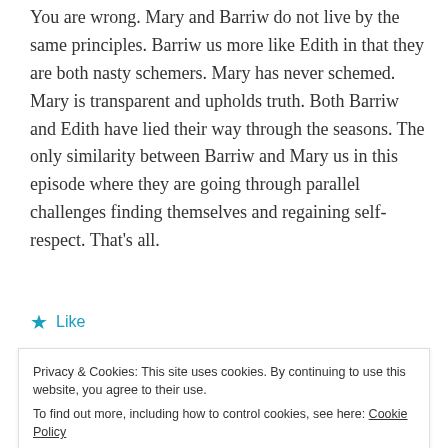You are wrong. Mary and Barriw do not live by the same principles. Barriw us more like Edith in that they are both nasty schemers. Mary has never schemed. Mary is transparent and upholds truth. Both Barriw and Edith have lied their way through the seasons. The only similarity between Barriw and Mary us in this episode where they are going through parallel challenges finding themselves and regaining self-respect. That's all.
★ Like
Reply
Privacy & Cookies: This site uses cookies. By continuing to use this website, you agree to their use. To find out more, including how to control cookies, see here: Cookie Policy
Close and accept